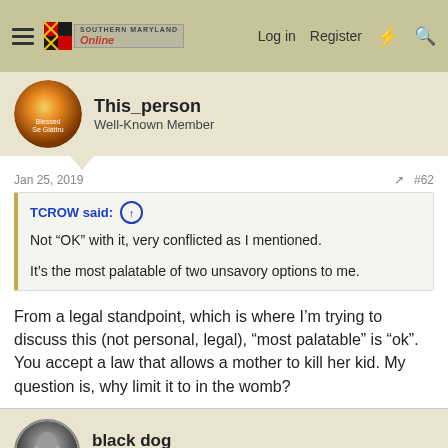Southern Maryland Online — Log in  Register
This_person
Well-Known Member
Jan 25, 2019  #62
TCROW said:
Not “OK” with it, very conflicted as I mentioned.
It’s the most palatable of two unsavory options to me.
From a legal standpoint, which is where I’m trying to discuss this (not personal, legal), "most palatable" is "ok". You accept a law that allows a mother to kill her kid. My question is, why limit it to in the womb?
black dog
Free America  PREMO Member